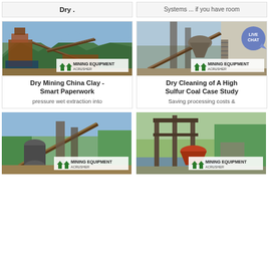[Figure (photo): Partial card showing 'Dry :' text, mining equipment website card top]
[Figure (photo): Partial card showing 'Systems ... if you have room' text, mining equipment website card top]
[Figure (photo): Photo of mining/crushing plant with conveyors and mountains, branded Mining Equipment Acrusher]
Dry Mining China Clay - Smart Paperwork
pressure wet extraction into
[Figure (photo): Photo of industrial crushing/screening plant with Live Chat bubble overlay, branded Mining Equipment Acrusher]
Dry Cleaning of A High Sulfur Coal Case Study
Saving processing costs &
[Figure (photo): Photo of mining equipment/conveyor plant near river, branded Mining Equipment Acrusher]
[Figure (photo): Photo of mining crushing plant with cone crusher near river, branded Mining Equipment Acrusher]